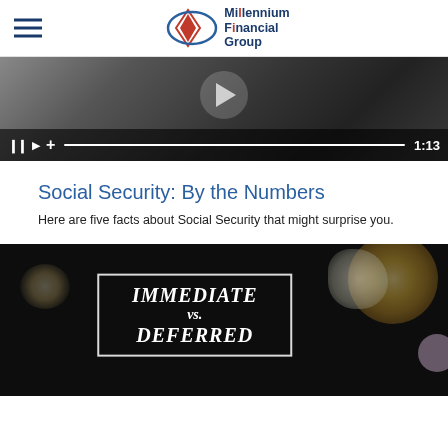[Figure (logo): Millennium Financial Group logo with red star and blue oval, hamburger menu icon on left]
[Figure (screenshot): Video player showing a video with controls at bottom: pause, play, plus, progress bar, and timestamp 1:13]
Social Security: By the Numbers
Here are five facts about Social Security that might surprise you.
[Figure (screenshot): Video thumbnail showing popcorn on black background with white-bordered text box reading: IMMEDIATE vs. DEFERRED]